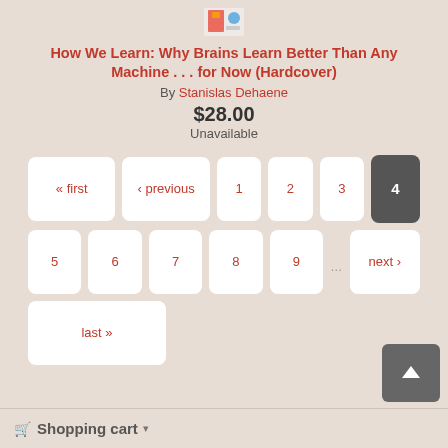[Figure (photo): Book cover thumbnail for 'How We Learn']
How We Learn: Why Brains Learn Better Than Any Machine . . . for Now (Hardcover)
By Stanislas Dehaene
$28.00
Unavailable
« first
‹ previous
1
2
3
4
5
6
7
8
9
…
next ›
last »
Shopping cart ▾